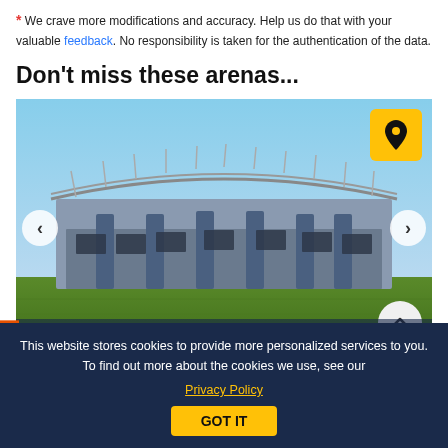* We crave more modifications and accuracy. Help us do that with your valuable feedback. No responsibility is taken for the authentication of the data.
Don't miss these arenas...
[Figure (photo): Photograph of a large stadium exterior with steel roof structure, blue pillars, and green grass in the foreground under a clear blue sky. Navigation arrows on left and right, a yellow location pin button top-right, and a scroll-to-top button bottom-right.]
Sport: Multipurpose
Place: Edinburgh, United Kingdom
This website stores cookies to provide more personalized services to you. To find out more about the cookies we use, see our Privacy Policy
GOT IT